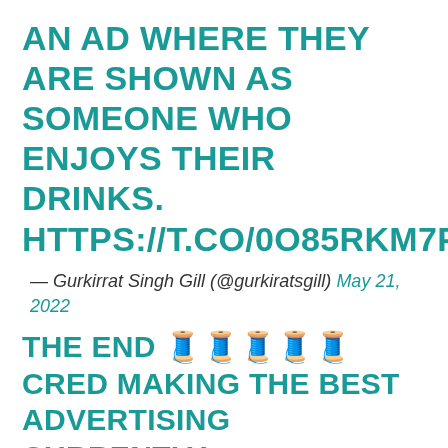AN AD WHERE THEY ARE SHOWN AS SOMEONE WHO ENJOYS THEIR DRINKS. HTTPS://T.CO/0O85RKM7PQ
— Gurkirrat Singh Gill (@gurkiratsgill) May 21, 2022
THE END 🧵🧵🧵🧵🧵 CRED MAKING THE BEST ADVERTISING CURRENTLY... LIKE ALL OF THEN ARE🧵🧵🧵🧵 THIS ONE IS INSPIRED BY HIS REAL